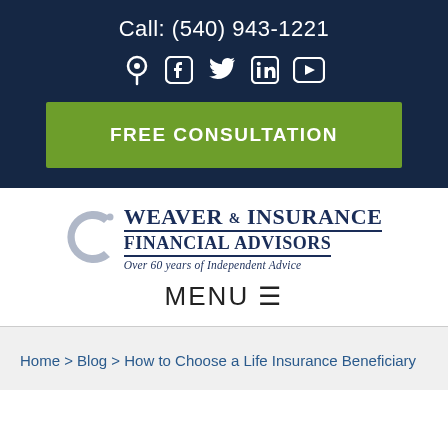Call: (540) 943-1221
[Figure (other): Social media icons: location pin, Facebook, Twitter, LinkedIn, YouTube]
FREE CONSULTATION
[Figure (logo): Weaver Insurance & Financial Advisors logo with tagline 'Over 60 years of Independent Advice']
MENU
Home > Blog > How to Choose a Life Insurance Beneficiary